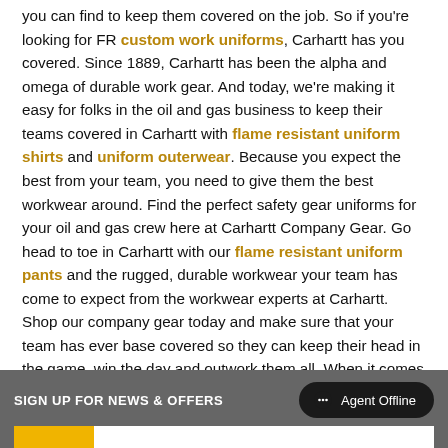you can find to keep them covered on the job. So if you're looking for FR custom work uniforms, Carhartt has you covered. Since 1889, Carhartt has been the alpha and omega of durable work gear. And today, we're making it easy for folks in the oil and gas business to keep their teams covered in Carhartt with flame resistant uniform shirts and uniform outerwear. Because you expect the best from your team, you need to give them the best workwear around. Find the perfect safety gear uniforms for your oil and gas crew here at Carhartt Company Gear. Go head to toe in Carhartt with our flame resistant uniform pants and the rugged, durable workwear your team has come to expect from the workwear experts at Carhartt. Shop our company gear today and make sure that your team has ever base covered so they can keep their head in the game, win the day and outwork them all. When it comes to the safety of your team, don't take any chances on FR workwear -- rest easier with Carhartt Company Gear.
SIGN UP FOR NEWS & OFFERS